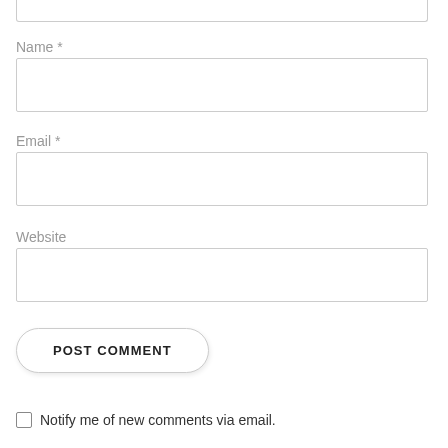Name *
[Figure (other): Empty text input field for Name]
Email *
[Figure (other): Empty text input field for Email]
Website
[Figure (other): Empty text input field for Website]
POST COMMENT
Notify me of new comments via email.